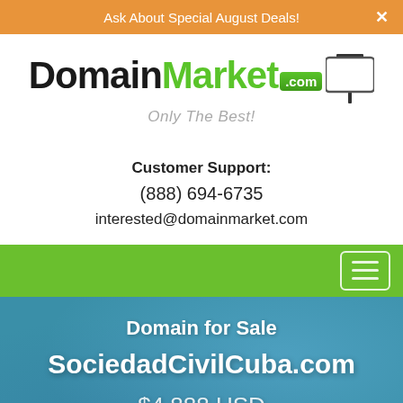Ask About Special August Deals!
[Figure (logo): DomainMarket.com logo with green .com badge and real estate sign icon. Tagline: Only The Best!]
Customer Support:
(888) 694-6735
interested@domainmarket.com
Domain for Sale
SociedadCivilCuba.com
$4,888 USD